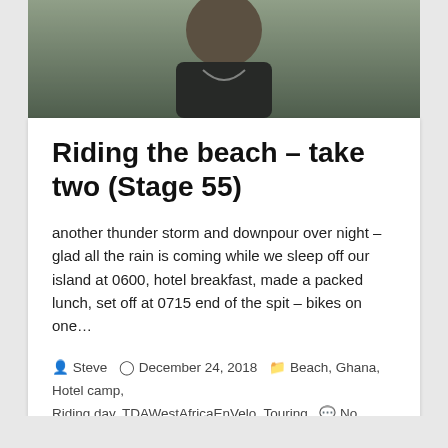[Figure (photo): Partial photo of a man in a black cycling jersey, cropped at the top of the page]
Riding the beach – take two (Stage 55)
another thunder storm and downpour over night – glad all the rain is coming while we sleep off our island at 0600, hotel breakfast, made a packed lunch, set off at 0715 end of the spit – bikes on one…
Steve  December 24, 2018  Beach, Ghana, Hotel camp, Riding day, TDAWestAfricaEnVelo, Touring  No Comments
read more